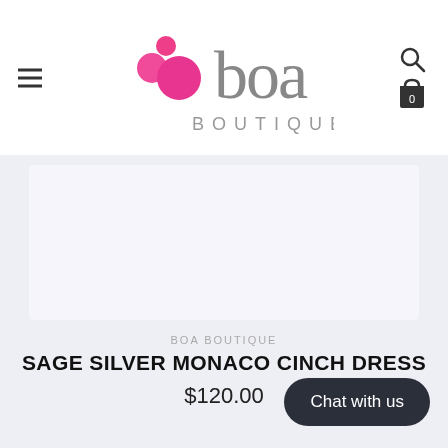[Figure (logo): Boa Boutique logo with pink circles and grey 'boa BOUTIQUE' text]
BOA BOUTIQUE
SAGE SILVER MONACO CINCH DRESS
$120.00
Chat with us